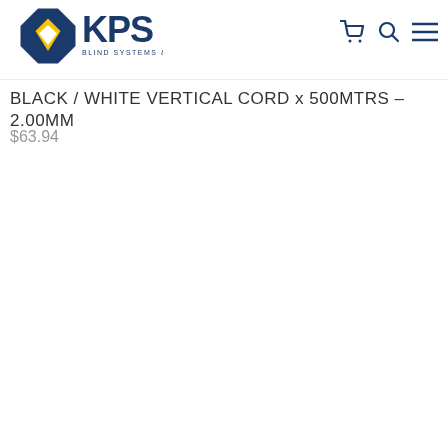KPS Blind Systems & Textiles
BLACK / WHITE VERTICAL CORD x 500MTRS – 2.00MM
$63.94